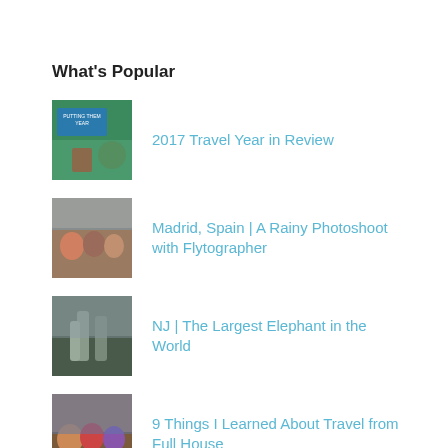What's Popular
2017 Travel Year in Review
Madrid, Spain | A Rainy Photoshoot with Flytographer
NJ | The Largest Elephant in the World
9 Things I Learned About Travel from Full House
Dominican Republic | Planting Trees & Taking Names with Fathom